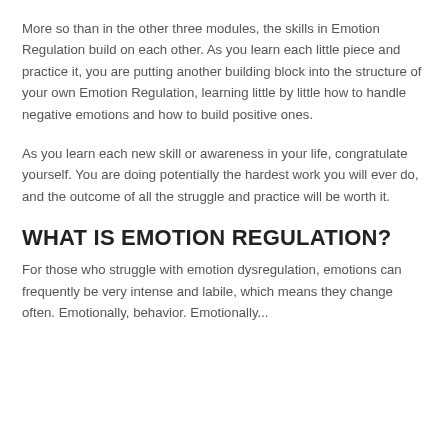More so than in the other three modules, the skills in Emotion Regulation build on each other. As you learn each little piece and practice it, you are putting another building block into the structure of your own Emotion Regulation, learning little by little how to handle negative emotions and how to build positive ones.
As you learn each new skill or awareness in your life, congratulate yourself. You are doing potentially the hardest work you will ever do, and the outcome of all the struggle and practice will be worth it.
WHAT IS EMOTION REGULATION?
For those who struggle with emotion dysregulation, emotions can frequently be very intense and labile, which means they change often. Emotionally, behavior. Emotionally...